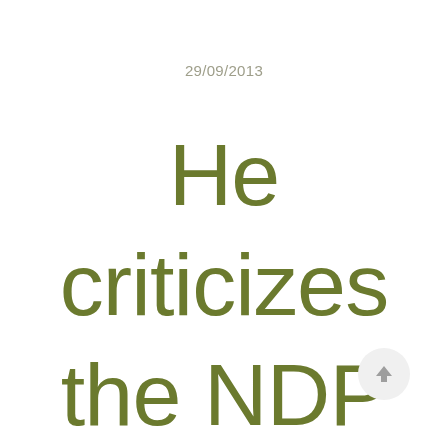29/09/2013
He criticizes the NDP